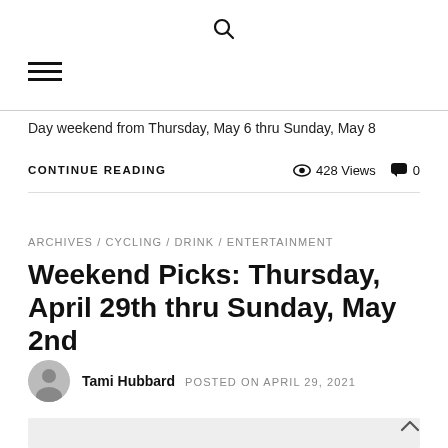🔍 (search icon)
≡ (hamburger menu)
Day weekend from Thursday, May 6 thru Sunday, May 8
CONTINUE READING   👁 428 Views  💬 0
ARCHIVES / CYCLING / DRINK / ENTERTAINMENT
Weekend Picks: Thursday, April 29th thru Sunday, May 2nd
Tami Hubbard   POSTED ON APRIL 29, 2021